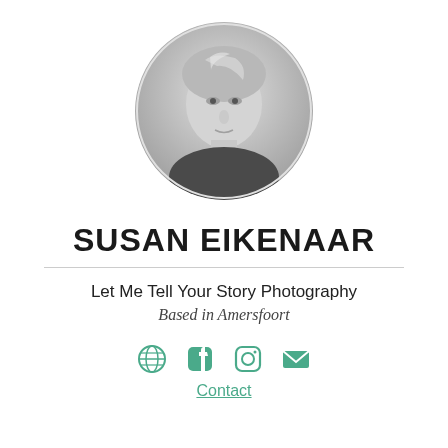[Figure (photo): Circular black-and-white portrait photo of Susan Eikenaar, a woman with blonde hair, smiling slightly, facing the camera.]
SUSAN EIKENAAR
Let Me Tell Your Story Photography
Based in Amersfoort
[Figure (infographic): Four social media icons in teal/green: globe/website icon, Facebook icon, Instagram icon, envelope/email icon.]
Contact